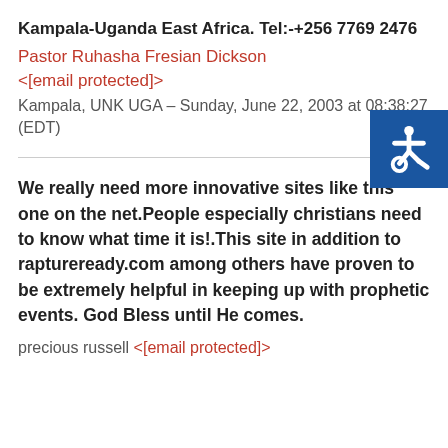Kampala-Uganda East Africa. Tel:-+256 7769 2476
Pastor Ruhasha Fresian Dickson <[email protected]>
Kampala, UNK UGA – Sunday, June 22, 2003 at 08:38:27 (EDT)
[Figure (other): Accessibility icon: blue square with wheelchair symbol in white]
We really need more innovative sites like this one on the net.People especially christians need to know what time it is!.This site in addition to raptureready.com among others have proven to be extremely helpful in keeping up with prophetic events. God Bless until He comes.
precious russell <[email protected]>